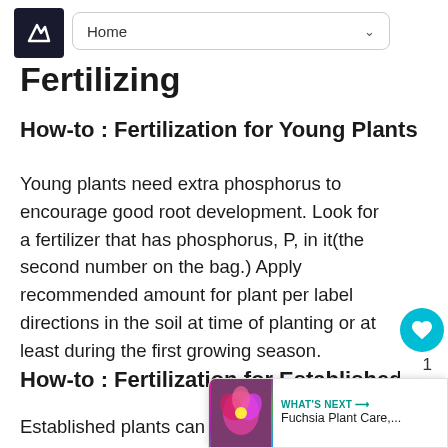Home
Fertilizing
How-to : Fertilization for Young Plants
Young plants need extra phosphorus to encourage good root development. Look for a fertilizer that has phosphorus, P, in it(the second number on the bag.) Apply recommended amount for plant per label directions in the soil at time of planting or at least during the first growing season.
How-to : Fertilization for Established Plants
Established plants can benefit from fertilization. To keep in mind, type of product, amount, and ho...